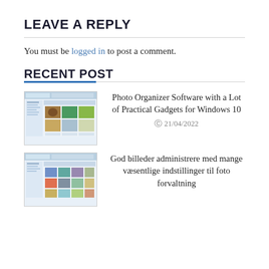LEAVE A REPLY
You must be logged in to post a comment.
RECENT POST
[Figure (screenshot): Thumbnail screenshot of Photo Organizer Software interface showing photo grid]
Photo Organizer Software with a Lot of Practical Gadgets for Windows 10
21/04/2022
[Figure (screenshot): Thumbnail screenshot of photo management software interface]
God billeder administrere med mange væsentlige indstillinger til foto forvaltning